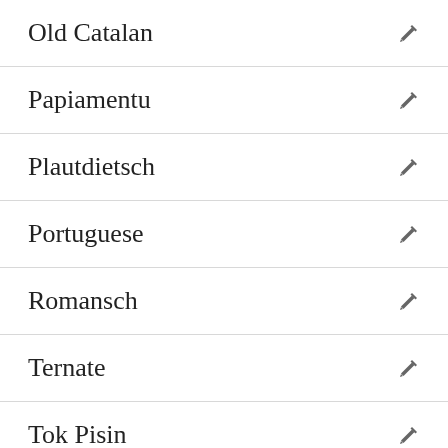Old Catalan
Papiamentu
Plautdietsch
Portuguese
Romansch
Ternate
Tok Pisin